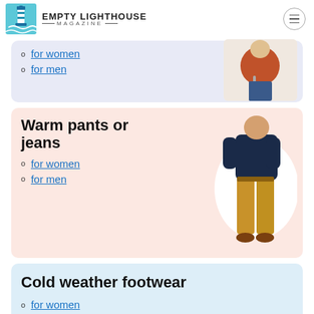Empty Lighthouse Magazine
for women
for men
Warm pants or jeans
for women
for men
[Figure (photo): Person wearing tan/khaki pants with navy sweater and brown boots]
Cold weather footwear
for women